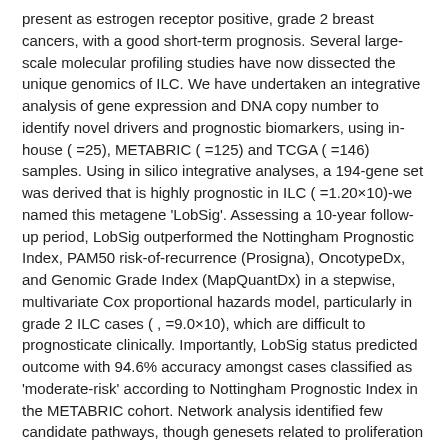present as estrogen receptor positive, grade 2 breast cancers, with a good short-term prognosis. Several large-scale molecular profiling studies have now dissected the unique genomics of ILC. We have undertaken an integrative analysis of gene expression and DNA copy number to identify novel drivers and prognostic biomarkers, using in-house ( =25), METABRIC ( =125) and TCGA ( =146) samples. Using in silico integrative analyses, a 194-gene set was derived that is highly prognostic in ILC ( =1.20×10)-we named this metagene 'LobSig'. Assessing a 10-year follow-up period, LobSig outperformed the Nottingham Prognostic Index, PAM50 risk-of-recurrence (Prosigna), OncotypeDx, and Genomic Grade Index (MapQuantDx) in a stepwise, multivariate Cox proportional hazards model, particularly in grade 2 ILC cases ( , =9.0×10), which are difficult to prognosticate clinically. Importantly, LobSig status predicted outcome with 94.6% accuracy amongst cases classified as 'moderate-risk' according to Nottingham Prognostic Index in the METABRIC cohort. Network analysis identified few candidate pathways, though genesets related to proliferation were identified, and a LobSig-high phenotype was associated with the TCGA proliferative subtype ( , <8.86×10). ILC with a poor outcome as predicted by LobSig were enriched with mutations in , , , and . LobSig has the potential to be a clinically relevant prognostic signature and warrants further development.